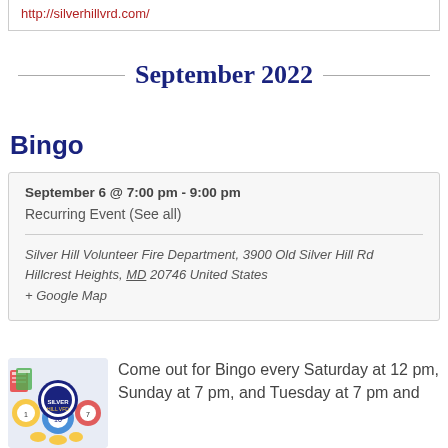http://silverhillvrd.com/
September 2022
Bingo
September 6 @ 7:00 pm - 9:00 pm
Recurring Event (See all)
Silver Hill Volunteer Fire Department, 3900 Old Silver Hill Rd Hillcrest Heights, MD 20746 United States + Google Map
[Figure (logo): Silver Hill Volunteer Fire Department bingo logo with bingo balls and departmental seal]
Come out for Bingo every Saturday at 12 pm, Sunday at 7 pm, and Tuesday at 7 pm and